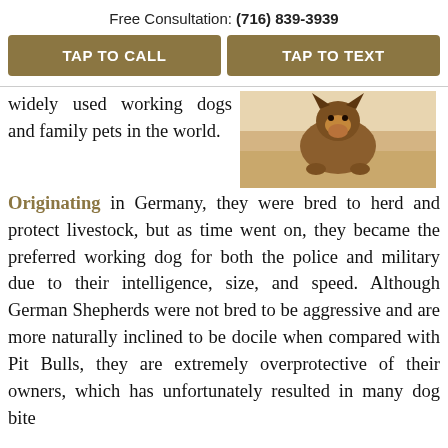Free Consultation: (716) 839-3939
TAP TO CALL
TAP TO TEXT
widely used working dogs and family pets in the world.
[Figure (photo): Photo of a German Shepherd dog outdoors]
Originating in Germany, they were bred to herd and protect livestock, but as time went on, they became the preferred working dog for both the police and military due to their intelligence, size, and speed. Although German Shepherds were not bred to be aggressive and are more naturally inclined to be docile when compared with Pit Bulls, they are extremely overprotective of their owners, which has unfortunately resulted in many dog bite